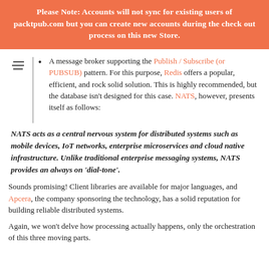Please Note: Accounts will not sync for existing users of packtpub.com but you can create new accounts during the checkout process on this new Store.
A message broker supporting the Publish / Subscribe (or PUBSUB) pattern. For this purpose, Redis offers a popular, efficient, and rock solid solution. This is highly recommended, but the database isn't designed for this case. NATS, however, presents itself as follows:
NATS acts as a central nervous system for distributed systems such as mobile devices, IoT networks, enterprise microservices and cloud native infrastructure. Unlike traditional enterprise messaging systems, NATS provides an always on 'dial-tone'.
Sounds promising! Client libraries are available for major languages, and Apcera, the company sponsoring the technology, has a solid reputation for building reliable distributed systems.
Again, we won't delve how processing actually happens, only the orchestration of this three moving parts.